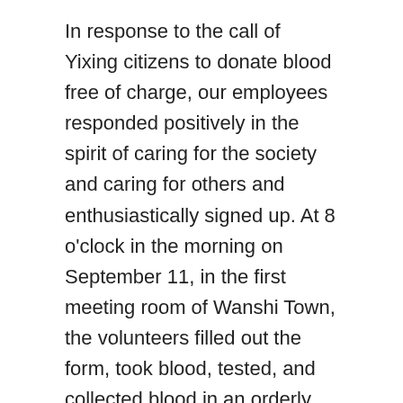In response to the call of Yixing citizens to donate blood free of charge, our employees responded positively in the spirit of caring for the society and caring for others and enthusiastically signed up. At 8 o'clock in the morning on September 11, in the first meeting room of Wanshi Town, the volunteers filled out the form, took blood, tested, and collected blood in an orderly manner, successfully completing the voluntary blood donation activity.
Several of the employees donated blood for the first time, but they did not feel fear, and what we saw most was their calm eyes. They naturally waited for the blood station staff to arrange blood draws. At the moment the needle pierces the blood vessel, bright red blood flows from the body, flows through the